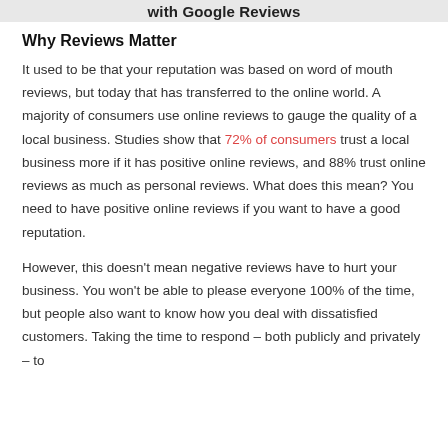with Google Reviews
Why Reviews Matter
It used to be that your reputation was based on word of mouth reviews, but today that has transferred to the online world. A majority of consumers use online reviews to gauge the quality of a local business. Studies show that 72% of consumers trust a local business more if it has positive online reviews, and 88% trust online reviews as much as personal reviews. What does this mean? You need to have positive online reviews if you want to have a good reputation.
However, this doesn't mean negative reviews have to hurt your business. You won't be able to please everyone 100% of the time, but people also want to know how you deal with dissatisfied customers. Taking the time to respond – both publicly and privately – to